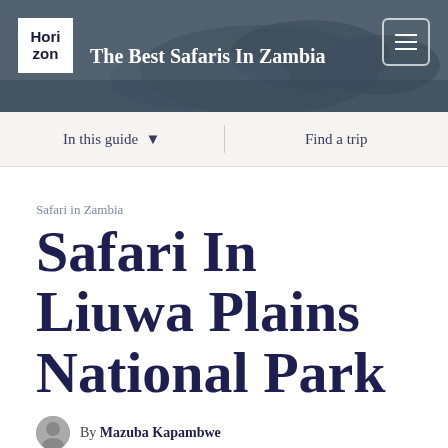The Best Safaris In Zambia
In this guide   Find a trip
Safari in Zambia
Safari In Liuwa Plains National Park
By Mazuba Kapambwe